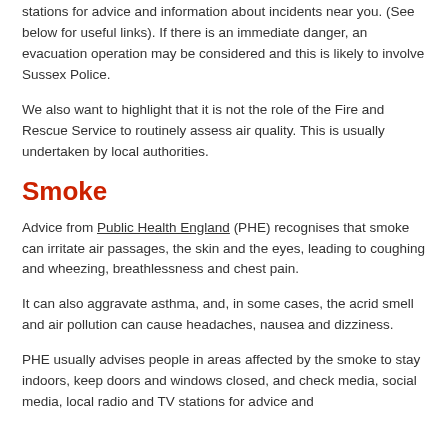stations for advice and information about incidents near you. (See below for useful links). If there is an immediate danger, an evacuation operation may be considered and this is likely to involve Sussex Police.
We also want to highlight that it is not the role of the Fire and Rescue Service to routinely assess air quality. This is usually undertaken by local authorities.
Smoke
Advice from Public Health England (PHE) recognises that smoke can irritate air passages, the skin and the eyes, leading to coughing and wheezing, breathlessness and chest pain.
It can also aggravate asthma, and, in some cases, the acrid smell and air pollution can cause headaches, nausea and dizziness.
PHE usually advises people in areas affected by the smoke to stay indoors, keep doors and windows closed, and check media, social media, local radio and TV stations for advice and information.